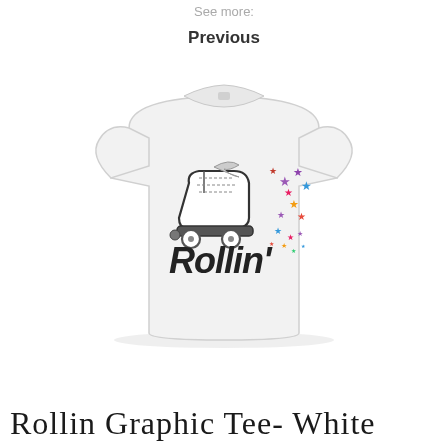See more:
Previous
[Figure (photo): White children's graphic t-shirt with a roller skate design and the word 'Rollin'' with colorful stars]
Rollin Graphic Tee- White